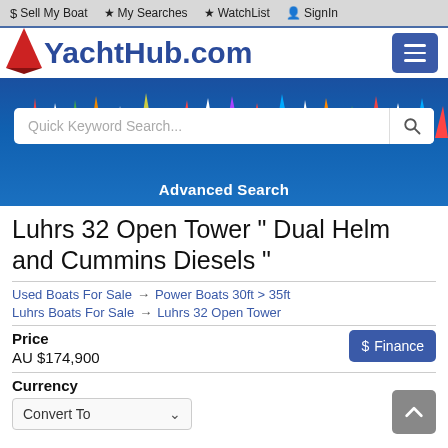$ Sell My Boat  My Searches  WatchList  SignIn
[Figure (logo): YachtHub.com logo with red star/triangle icon and blue text, plus hamburger menu button]
[Figure (photo): Hero banner with aerial photo of sailboats racing on blue water, with a keyword search box and Advanced Search link overlay]
Luhrs 32 Open Tower " Dual Helm and Cummins Diesels "
Used Boats For Sale → Power Boats 30ft > 35ft
Luhrs Boats For Sale → Luhrs 32 Open Tower
Price
AU $174,900
Currency
Convert To